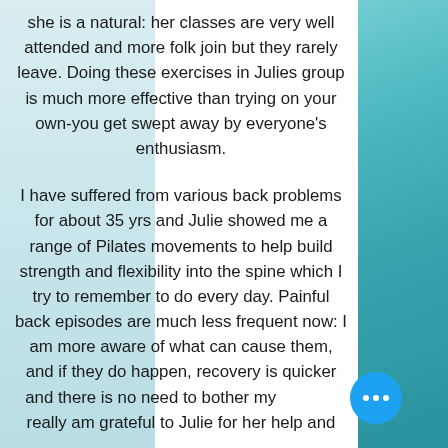she is a natural: her classes are very well attended and more folk join but they rarely leave. Doing these exercises in Julies group is much more effective than trying on your own-you get swept away by everyone's enthusiasm.
I have suffered from various back problems for about 35 yrs and Julie showed me a range of Pilates movements to help build strength and flexibility into the spine which I try to remember to do every day. Painful back episodes are much less frequent now: I am more aware of what can cause them, and if they do happen, recovery is quicker and there is no need to bother my really am grateful to Julie for her help and